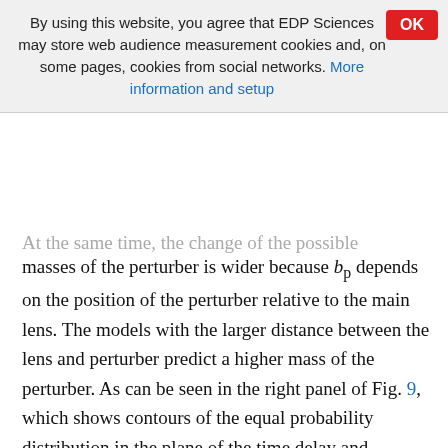By using this website, you agree that EDP Sciences may store web audience measurement cookies and, on some pages, cookies from social networks. More information and setup
masses of the perturber is wider because b_p depends on the position of the perturber relative to the main lens. The models with the larger distance between the lens and perturber predict a higher mass of the perturber. As can be seen in the right panel of Fig. 9, which shows contours of the equal probability distribution in the plane of the time delay and perturber mass, the delay is shorter for the perturber with the higher mass. But at the same time, the delay can also be shorter in the models with the pertuber with the smaller mass located closer to the main lens. The most probable values of the Model 3 parameters and their 1σ uncertainties are summarised in Table 7. The corresponding critical lines